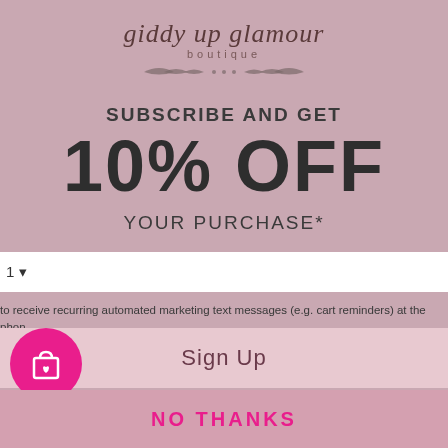[Figure (logo): Giddy Up Glamour Boutique logo with cursive script text and leaf/laurel decorative element]
SUBSCRIBE AND GET
10% OFF
YOUR PURCHASE*
1
to receive recurring automated marketing text messages (e.g. cart reminders) at the phone provided. Consent is not a condition to purchase. Msg & data rates may apply. Msg frequency reply HELP for help and STOP to cancel. View our Terms of Service and Privacy Policy.
Sign Up
NO THANKS